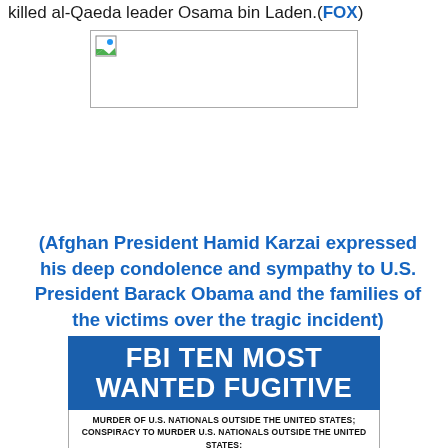killed al-Qaeda leader Osama bin Laden.(FOX)
[Figure (photo): Broken/missing image placeholder box]
(Afghan President Hamid Karzai expressed his deep condolence and sympathy to U.S. President Barack Obama and the families of the victims over the tragic incident)
[Figure (infographic): FBI Ten Most Wanted Fugitive banner in blue and white. Text reads: MURDER OF U.S. NATIONALS OUTSIDE THE UNITED STATES; CONSPIRACY TO MURDER U.S. NATIONALS OUTSIDE THE UNITED STATES; ATTACK ON A FEDERAL FACILITY RESULTING IN DEATH]